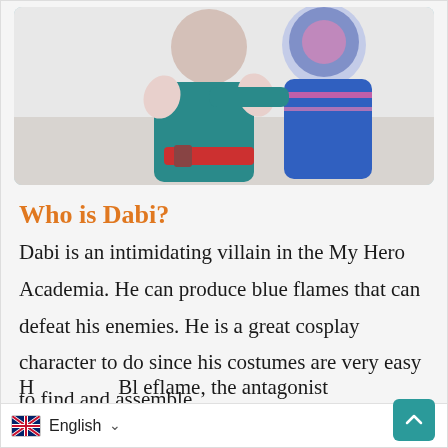[Figure (photo): Cosplay photo showing two people dressed in My Hero Academia costumes — one in teal/dark outfit, the other in a blue and pink outfit with a helmet]
Who is Dabi?
Dabi is an intimidating villain in the My Hero Academia. He can produce blue flames that can defeat his enemies. He is a great cosplay character to do since his costumes are very easy to find and assemble.
H... Bl...eflame, the antagonist